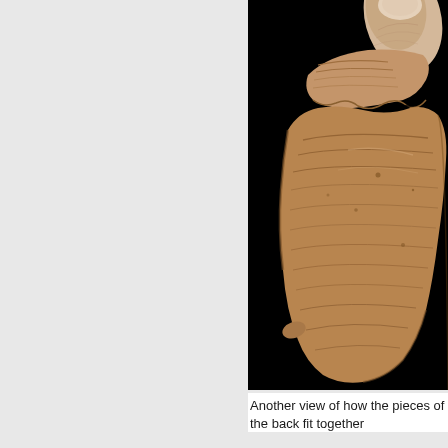[Figure (photo): Close-up photograph of a fossil bone fragment (cranial/skull piece) held between a person's fingers against a black background. The bone is tan/brown in color with visible texture and grain. Two separate bone pieces appear to be fitted together, showing how the back pieces of a fossil skull fit together.]
Another view of how the pieces of the back fit together